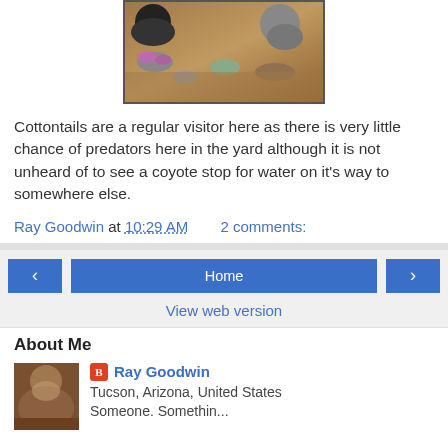[Figure (photo): Photo of cottontail rabbit in yard with rocks and pink flowers, framed with a border]
Cottontails are a regular visitor here as there is very little chance of predators here in the yard although it is not unheard of to see a coyote stop for water on it's way to somewhere else.
Ray Goodwin at 10:29 AM    2 comments:
[Figure (other): Navigation buttons: left arrow, Home, right arrow]
View web version
About Me
Ray Goodwin
Tucson, Arizona, United States